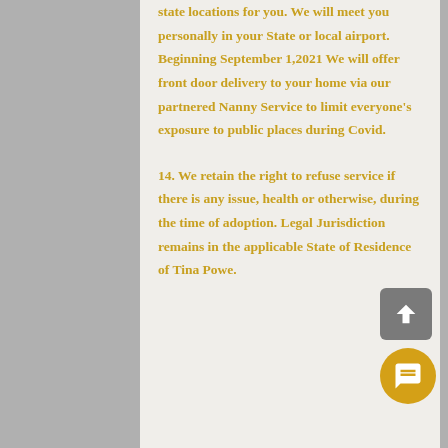state locations for you. We will meet you personally in your State or local airport. Beginning September 1,2021 We will offer front door delivery to your home via our partnered Nanny Service to limit everyone's exposure to public places during Covid.
14. We retain the right to refuse service if there is any issue, health or otherwise, during the time of adoption. Legal Jurisdiction remains in the applicable State of Residence of Tina Powe.